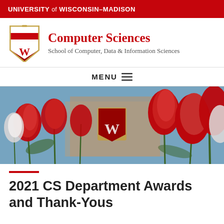UNIVERSITY of WISCONSIN-MADISON
[Figure (logo): UW-Madison Computer Sciences logo: shield crest on left, 'Computer Sciences' in red bold serif font, 'School of Computer, Data & Information Sciences' in gray below]
MENU ☰
[Figure (photo): Hero photo of red and white tulips in bloom with UW-Madison W crest plaque visible in background against a blue sky]
2021 CS Department Awards and Thank-Yous